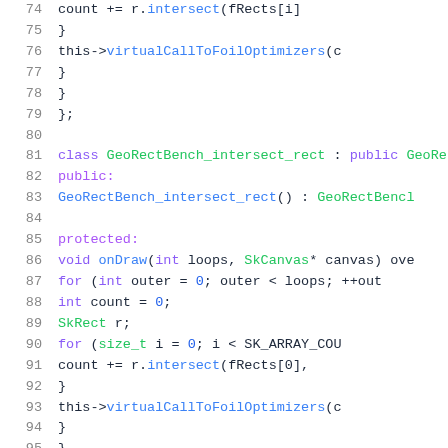[Figure (screenshot): Source code screenshot showing C++ class definitions with syntax highlighting. Lines 74-95 are visible, showing GeoRectBench class methods including onDraw loops with SkRect intersect operations and virtualCallToFoilOptimizers calls.]